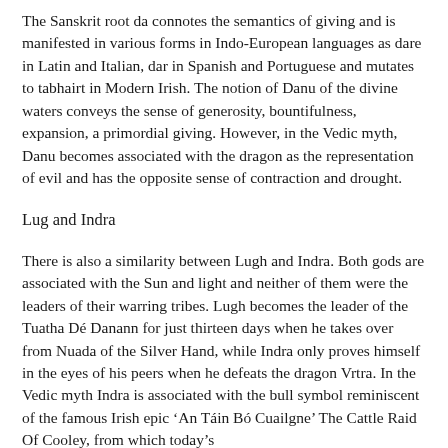The Sanskrit root da connotes the semantics of giving and is manifested in various forms in Indo-European languages as dare in Latin and Italian, dar in Spanish and Portuguese and mutates to tabhairt in Modern Irish. The notion of Danu of the divine waters conveys the sense of generosity, bountifulness, expansion, a primordial giving. However, in the Vedic myth, Danu becomes associated with the dragon as the representation of evil and has the opposite sense of contraction and drought.
Lug and Indra
There is also a similarity between Lugh and Indra. Both gods are associated with the Sun and light and neither of them were the leaders of their warring tribes. Lugh becomes the leader of the Tuatha Dé Danann for just thirteen days when he takes over from Nuada of the Silver Hand, while Indra only proves himself in the eyes of his peers when he defeats the dragon Vrtra. In the Vedic myth Indra is associated with the bull symbol reminiscent of the famous Irish epic 'An Táin Bó Cuailgne' The Cattle Raid Of Cooley, from which today's